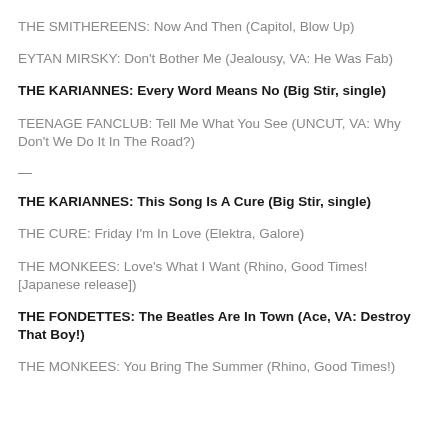THE SMITHEREENS: Now And Then (Capitol, Blow Up)
EYTAN MIRSKY: Don't Bother Me (Jealousy, VA: He Was Fab)
THE KARIANNES: Every Word Means No (Big Stir, single)
TEENAGE FANCLUB: Tell Me What You See (UNCUT, VA: Why Don't We Do It In The Road?)
—
THE KARIANNES: This Song Is A Cure (Big Stir, single)
THE CURE: Friday I'm In Love (Elektra, Galore)
THE MONKEES: Love's What I Want (Rhino, Good Times! [Japanese release])
THE FONDETTES: The Beatles Are In Town (Ace, VA: Destroy That Boy!)
THE MONKEES: You Bring The Summer (Rhino, Good Times!)